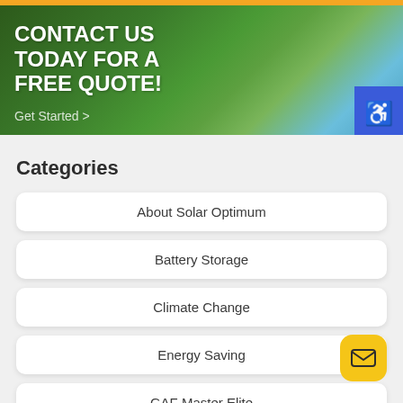CONTACT US TODAY FOR A FREE QUOTE!
Get Started >
Categories
About Solar Optimum
Battery Storage
Climate Change
Energy Saving
GAF Master Elite